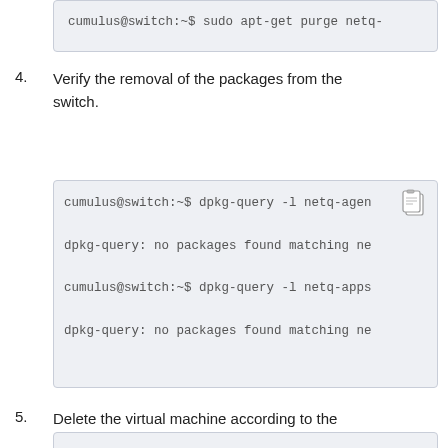cumulus@switch:~$ sudo apt-get purge netq-...
4. Verify the removal of the packages from the switch.
cumulus@switch:~$ dpkg-query -l netq-agen...
dpkg-query: no packages found matching ne...
cumulus@switch:~$ dpkg-query -l netq-apps...
dpkg-query: no packages found matching ne...
5. Delete the virtual machine according to the usual VMware or KVM practice.